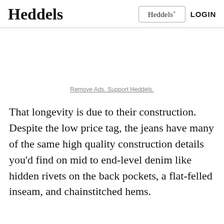Heddels
Remove Ads. Support Heddels.
That longevity is due to their construction. Despite the low price tag, the jeans have many of the same high quality construction details you'd find on mid to end-level denim like hidden rivets on the back pockets, a flat-felled inseam, and chainstitched hems.